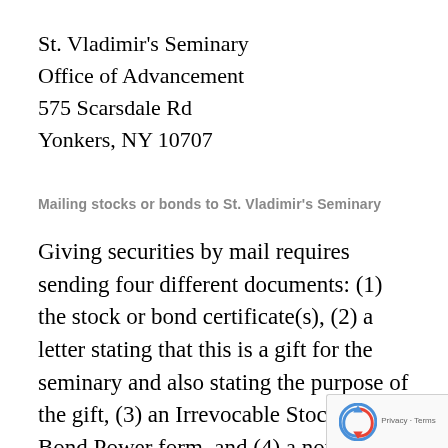St. Vladimir's Seminary
Office of Advancement
575 Scarsdale Rd
Yonkers, NY 10707
Mailing stocks or bonds to St. Vladimir's Seminary
Giving securities by mail requires sending four different documents: (1) the stock or bond certificate(s), (2) a letter stating that this is a gift for the seminary and also stating the purpose of the gift, (3) an Irrevocable Stock or Bond Power form, and (4) a notarized Third Party Release form for each certificate. If you physically have the stock certificates in yo…